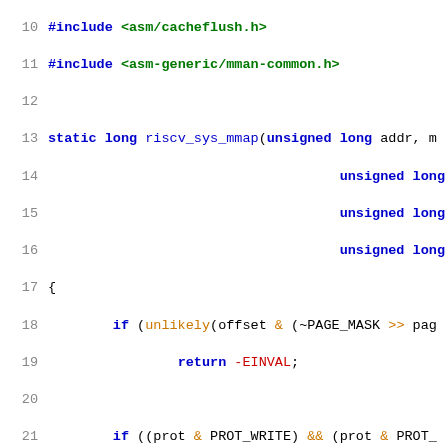[Figure (screenshot): Source code listing showing lines 10-31 of a C file implementing riscv_sys_mmap and related syscall definitions, with syntax highlighting: blue for keywords/types, green for strings/identifiers, orange for operators and some keywords.]